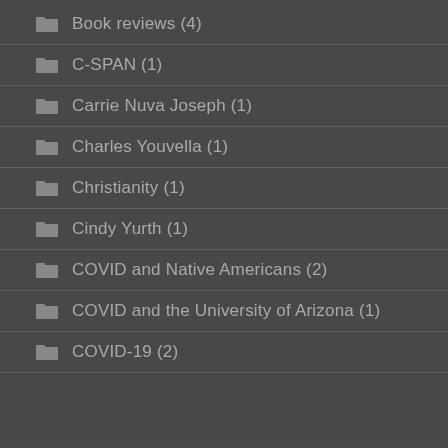Book reviews (4)
C-SPAN (1)
Carrie Nuva Joseph (1)
Charles Youvella (1)
Christianity (1)
Cindy Yurth (1)
COVID and Native Americans (2)
COVID and the University of Arizona (1)
COVID-19 (2)